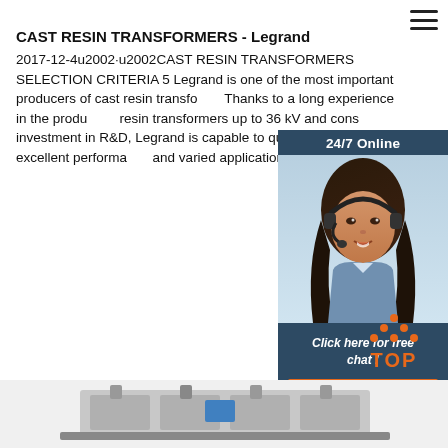CAST RESIN TRANSFORMERS - Legrand
2017-12-4u2002·u2002CAST RESIN TRANSFORMERS SELECTION CRITERIA 5 Legrand is one of the most important producers of cast resin transformers. Thanks to a long experience in the production of resin transformers up to 36 kV and constant investment in R&D, Legrand is capable to quality products, with excellent performance and varied applications.
[Figure (photo): 24/7 Online chat widget with photo of a woman wearing a headset, dark blue background panel with 'Click here for free chat!' text and orange QUOTATION button]
[Figure (logo): Orange TOP button with dotted triangle arrow pointing up]
[Figure (photo): Bottom portion of a cast resin transformer product, gray industrial equipment on white background]